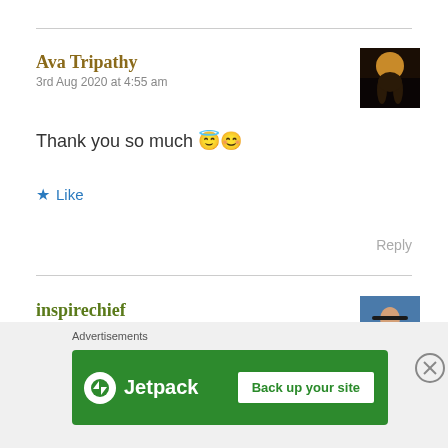Ava Tripathy
3rd Aug 2020 at 4:55 am
[Figure (photo): Avatar image for Ava Tripathy showing a silhouette at sunset]
Thank you so much 😇😊
★ Like
Reply
inspirechief
2nd Aug 2020 at 4:52 pm
[Figure (photo): Avatar image for inspirechief showing a person outdoors]
Advertisements
[Figure (screenshot): Jetpack advertisement banner with 'Back up your site' button]